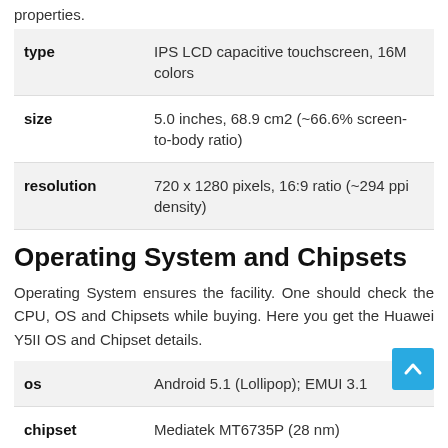properties.
| type | IPS LCD capacitive touchscreen, 16M colors |
| size | 5.0 inches, 68.9 cm2 (~66.6% screen-to-body ratio) |
| resolution | 720 x 1280 pixels, 16:9 ratio (~294 ppi density) |
Operating System and Chipsets
Operating System ensures the facility. One should check the CPU, OS and Chipsets while buying. Here you get the Huawei Y5II OS and Chipset details.
| os | Android 5.1 (Lollipop); EMUI 3.1 |
| chipset | Mediatek MT6735P (28 nm) |
|  | 4G modelMediatek MT6582 |